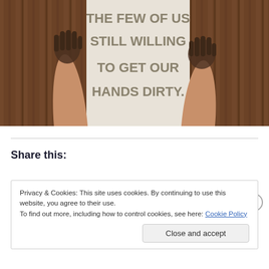[Figure (photo): Overhead view of two arms with ink-stained hands raised against a wooden table surface. Between the hands is a white paper printed with bold uppercase text reading 'THE FEW OF US STILL WILLING TO GET OUR HANDS DIRTY.']
Share this:
Privacy & Cookies: This site uses cookies. By continuing to use this website, you agree to their use.
To find out more, including how to control cookies, see here: Cookie Policy
Close and accept